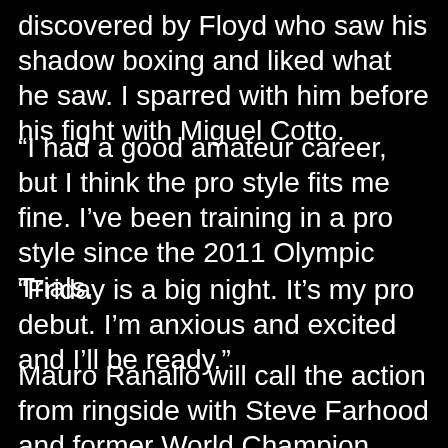discovered by Floyd who saw his shadow boxing and liked what he saw. I sparred with him before his fight with Miguel Cotto.
“I had a good amateur career, but I think the pro style fits me fine. I’ve been training in a pro style since the 2011 Olympic Trials.
“Friday is a big night. It’s my pro debut. I’m anxious and excited and I’ll be ready.”
Mauro Ranallo will call the action from ringside with Steve Farhood and former World Champion Raul Marquez serving as expert analysts. The executive producer is Gordon Hall with Richard Gaughan producing and